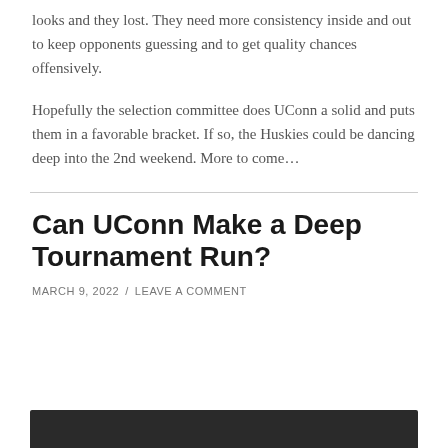looks and they lost. They need more consistency inside and out to keep opponents guessing and to get quality chances offensively.
Hopefully the selection committee does UConn a solid and puts them in a favorable bracket. If so, the Huskies could be dancing deep into the 2nd weekend. More to come…
Can UConn Make a Deep Tournament Run?
MARCH 9, 2022 / LEAVE A COMMENT